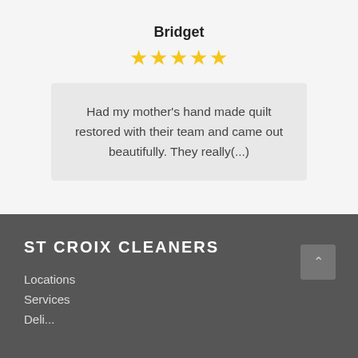Bridget
[Figure (other): Five yellow star rating icons]
Had my mother's hand made quilt restored with their team and came out beautifully. They really(...)
ST CROIX CLEANERS
Locations
Services
Deli...